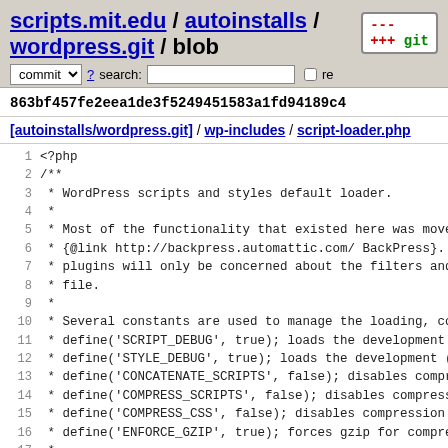scripts.mit.edu / autoinstalls / wordpress.git / blob
863bf457fe2eea1de3f5249451583a1fd94189c4
[autoinstalls/wordpress.git] / wp-includes / script-loader.php
1  <?php
2  /**
3   * WordPress scripts and styles default loader.
4   *
5   * Most of the functionality that existed here was move
6   * {@link http://backpress.automattic.com/ BackPress}.
7   * plugins will only be concerned about the filters and
8   * file.
9   *
10  * Several constants are used to manage the loading, co
11  * define('SCRIPT_DEBUG', true); loads the development
12  * define('STYLE_DEBUG', true); loads the development (
13  * define('CONCATENATE_SCRIPTS', false); disables compr
14  * define('COMPRESS_SCRIPTS', false); disables compress
15  * define('COMPRESS_CSS', false); disables compression
16  * define('ENFORCE_GZIP', true); forces gzip for compre
17  *
18  * The globals $concatenate_scripts, $compress_scripts
19  * to temporarily override the above settings. Also a c
20  * as option 'can_compress_scripts' (0/1). The test wil
21  *